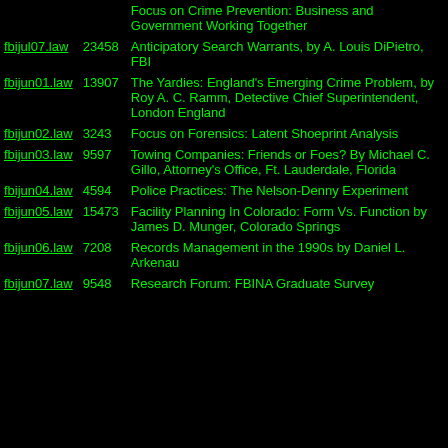| File | Size | Description |
| --- | --- | --- |
| fbijul07.law | 23458 | Anticipatory Search Warrants, by A. Louis DiPietro, FBI |
| fbijun01.law | 13907 | The Yardies: England's Emerging Crime Problem, by Roy A. C. Ramm, Detective Chief Superintendent, London England |
| fbijun02.law | 3243 | Focus on Forensics: Latent Shoeprint Analysis |
| fbijun03.law | 9597 | Towing Companies: Friends or Foes? By Michael C. Gillo, Attorney's Office, Ft. Lauderdale, Florida |
| fbijun04.law | 4594 | Police Practices: The Nelson-Denny Experiment |
| fbijun05.law | 15473 | Facility Planning In Colorado: Form Vs. Function by James D. Munger, Colorado Springs |
| fbijun06.law | 7208 | Records Management in the 1990s by Daniel L. Arkenau |
| fbijun07.law | 9548 | Research Forum: FBINA Graduate Survey |